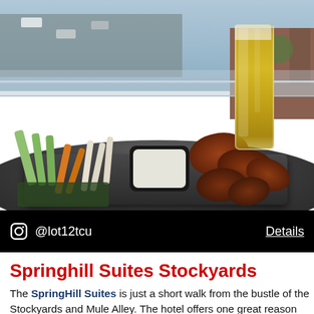[Figure (photo): Rooftop photo of a tray with buffalo wings, celery, carrots, white vegetables, and a dipping sauce bowl, alongside a tall glass of beer. City skyline and railing visible in background.]
@lot12tcu   Details
Springhill Suites Stockyards
The SpringHill Suites is just a short walk from the bustle of the Stockyards and Mule Alley. The hotel offers one great reason for staying in — Ático. The venture by Chef Tim